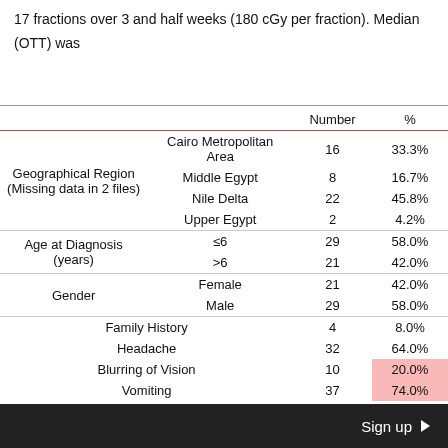17 fractions over 3 and half weeks (180 cGy per fraction). Median (OTT) was
|  |  | Number | % |
| --- | --- | --- | --- |
| Geographical Region (Missing data in 2 files) | Cairo Metropolitan Area | 16 | 33.3% |
|  | Middle Egypt | 8 | 16.7% |
|  | Nile Delta | 22 | 45.8% |
|  | Upper Egypt | 2 | 4.2% |
| Age at Diagnosis (years) | ≤6 | 29 | 58.0% |
|  | >6 | 21 | 42.0% |
| Gender | Female | 21 | 42.0% |
|  | Male | 29 | 58.0% |
| Family History |  | 4 | 8.0% |
| Headache |  | 32 | 64.0% |
| Blurring of Vision |  | 10 | 20.0% |
| Vomiting |  | 37 | 74.0% |